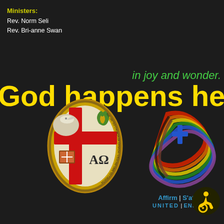Ministers:
Rev. Norm Seli
Rev. Bri-anne Swan
in joy and wonder.
God happens here.
[Figure (logo): The United Church of Canada crest/shield logo — oval vesica shape with red cross, four quadrants containing: dove, bible, burning bush, alpha-omega symbol, surrounded by gold border with text]
[Figure (logo): Affirm United / S'affirmer Ensemble rainbow ribbon logo with cross, featuring rainbow colored swooping ribbons and text 'Affirm United | S'affirmer Ensemble']
[Figure (logo): Accessibility icon — yellow wheelchair user symbol on dark circular background]